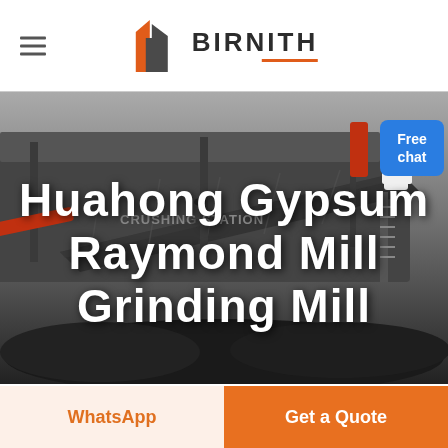BIRNITH
[Figure (photo): Industrial crushing station machinery with conveyor belts and heavy equipment in a dark/grayscale setting with coal/rock material]
Huahong Gypsum Raymond Mill Grinding Mill
Free chat
WhatsApp
Get a Quote